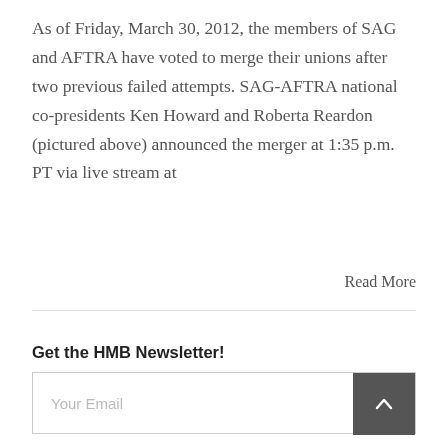As of Friday, March 30, 2012, the members of SAG and AFTRA have voted to merge their unions after two previous failed attempts. SAG-AFTRA national co-presidents Ken Howard and Roberta Reardon (pictured above) announced the merger at 1:35 p.m. PT via live stream at
Read More
Get the HMB Newsletter!